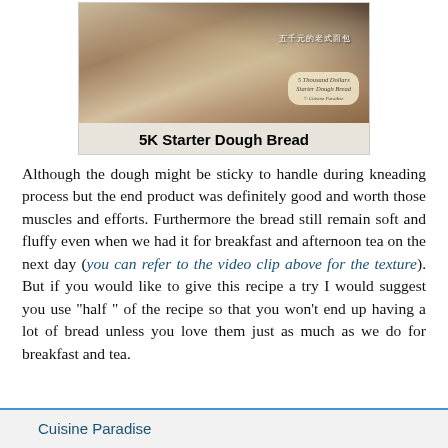[Figure (photo): Photo of a loaf of bread with Chinese and English text overlaid. Chinese text reads '五千元的老式面包', English overlay reads '5 Thousand Dollars Starter Dough Bread © Cuisine Paradise']
5K Starter Dough Bread
Although the dough might be sticky to handle during kneading process but the end product was definitely good and worth those muscles and efforts. Furthermore the bread still remain soft and fluffy even when we had it for breakfast and afternoon tea on the next day (you can refer to the video clip above for the texture). But if you would like to give this recipe a try I would suggest you use "half " of the recipe so that you won't end up having a lot of bread unless you love them just as much as we do for breakfast and tea.
Cuisine Paradise